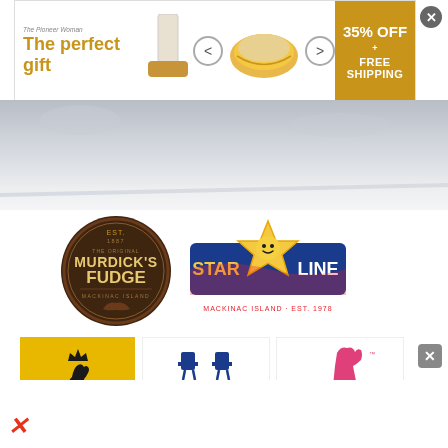[Figure (logo): Advertisement banner: 'The perfect gift' with pioneer/cookware branding, food image, navigation arrows, and '35% OFF + FREE SHIPPING' badge in gold]
[Figure (photo): Hero background image with snowy/wintry outdoor scene, light grey gradient]
[Figure (logo): Murdick's Fudge circular dark brown logo with gold text reading 'THE ORIGINAL MURDICK'S FUDGE MACKINAC ISLAND']
[Figure (logo): Mackinac Island Star Line ferry service logo with blue and red star mascot character]
[Figure (logo): Mackinac Island Carriage Tours logo on yellow square background with black horse silhouette]
[Figure (logo): Mission Point Resort logo in navy blue with two adirondack chairs, italic script name, and 'Mackinac Island' subtitle]
[Figure (logo): Pink Pony Mackinac logo with pink rearing horse illustration and pink text]